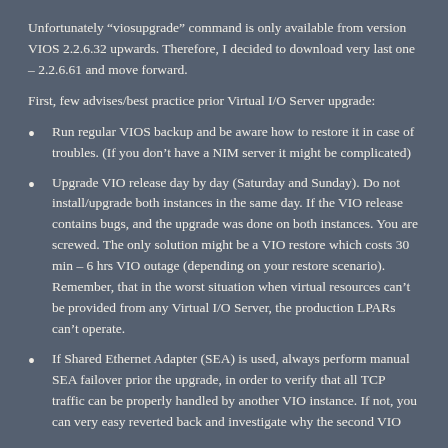Unfortunately “viosupgrade” command is only available from version VIOS 2.2.6.32 upwards. Therefore, I decided to download very last one – 2.2.6.61 and move forward.
First, few advises/best practice prior Virtual I/O Server upgrade:
Run regular VIOS backup and be aware how to restore it in case of troubles. (If you don’t have a NIM server it might be complicated)
Upgrade VIO release day by day (Saturday and Sunday). Do not install/upgrade both instances in the same day. If the VIO release contains bugs, and the upgrade was done on both instances. You are screwed. The only solution might be a VIO restore which costs 30 min – 6 hrs VIO outage (depending on your restore scenario). Remember, that in the worst situation when virtual resources can’t be provided from any Virtual I/O Server, the production LPARs can’t operate.
If Shared Ethernet Adapter (SEA) is used, always perform manual SEA failover prior the upgrade, in order to verify that all TCP traffic can be properly handled by another VIO instance. If not, you can very easy reverted back and investigate why the second VIO